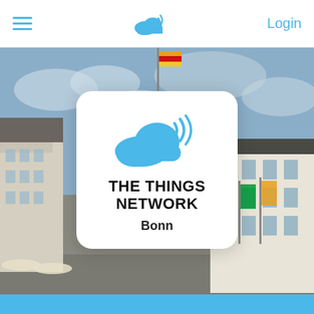≡   [cloud logo]   Login
[Figure (photo): Background photograph of Bonn city centre showing historic buildings, a flagpole with flags, and a large classical white building (Old City Hall of Bonn) with flags flying in front of it. Overcast sky visible.]
[Figure (logo): The Things Network app icon: white rounded-rectangle card containing a blue cloud with WiFi/radio signal arcs, bold text 'THE THINGS NETWORK', and city name 'Bonn' below.]
THE THINGS NETWORK
Bonn